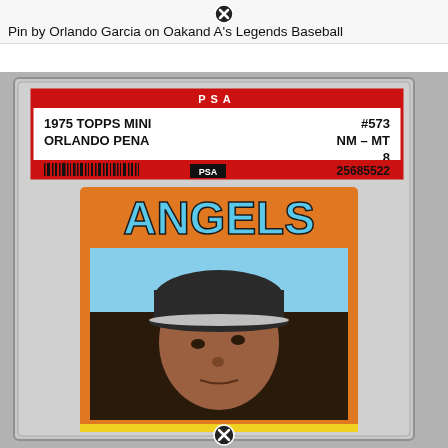Pin by Orlando Garcia on Oakand A's Legends Baseball
[Figure (photo): PSA graded 1975 Topps Mini baseball card #573 of Orlando Pena, graded NM-MT 8, serial number 25685522. The card shows Pena in an Angels uniform with orange card border and blue 'ANGELS' team name text. Card is encased in a PSA plastic slab.]